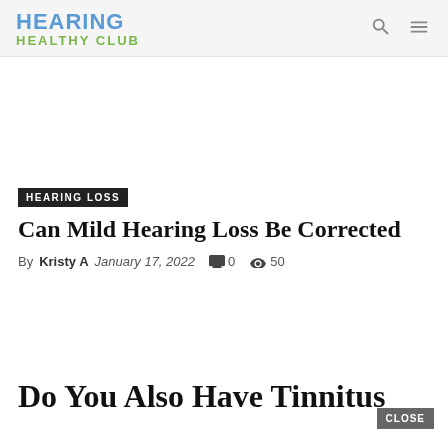HEARING HEALTHY CLUB
HEARING LOSS
Can Mild Hearing Loss Be Corrected
By Kristy A  January 17, 2022  0  50
Do You Also Have Tinnitus